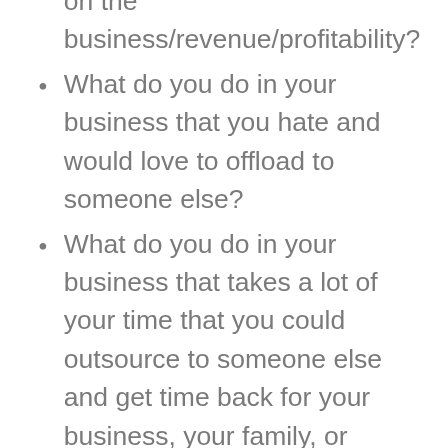on the business/revenue/profitability?
What do you do in your business that you hate and would love to offload to someone else?
What do you do in your business that takes a lot of your time that you could outsource to someone else and get time back for your business, your family, or yourself?
What is falling through the cracks that would make a difference in your business if you implemented new systems?
If you offloaded 10-20 hours of work per week to someone else or systems,